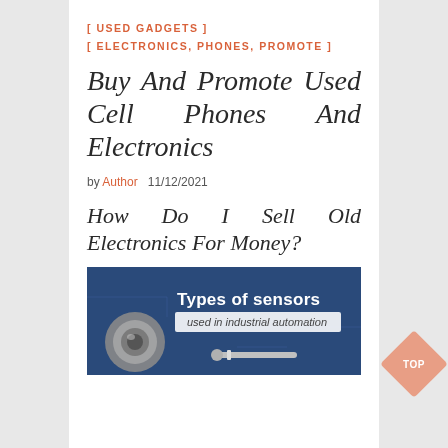[ USED GADGETS ]
[ ELECTRONICS, PHONES, PROMOTE ]
Buy And Promote Used Cell Phones And Electronics
by Author   11/12/2021
How Do I Sell Old Electronics For Money?
[Figure (photo): Image showing 'Types of sensors used in industrial automation' with industrial sensor equipment on a blue background.]